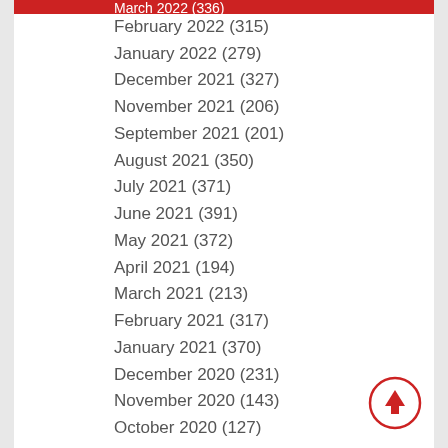March 2022 (336)
February 2022 (315)
January 2022 (279)
December 2021 (327)
November 2021 (206)
September 2021 (201)
August 2021 (350)
July 2021 (371)
June 2021 (391)
May 2021 (372)
April 2021 (194)
March 2021 (213)
February 2021 (317)
January 2021 (370)
December 2020 (231)
November 2020 (143)
October 2020 (127)
September 2020 (205)
August 2020 (172)
July 2020 (151)
June 2020 (170)
May 2020 (75)